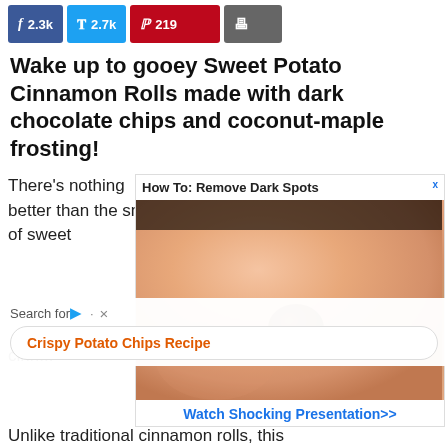[Figure (other): Social share buttons: Facebook 2.3k, Twitter 2.7k, Pinterest 219, Print]
Wake up to gooey Sweet Potato Cinnamon Rolls made with dark chocolate chips and coconut-maple frosting!
There's nothing better than the smell of sweet
[Figure (photo): Advertisement: How To: Remove Dark Spots - close-up photo of skin with a dark brown spot, with CTA 'Watch Shocking Presentation>>']
[Figure (other): Search overlay with suggestion 'Crispy Potato Chips Recipe']
cinn...
Unlike traditional cinnamon rolls, this